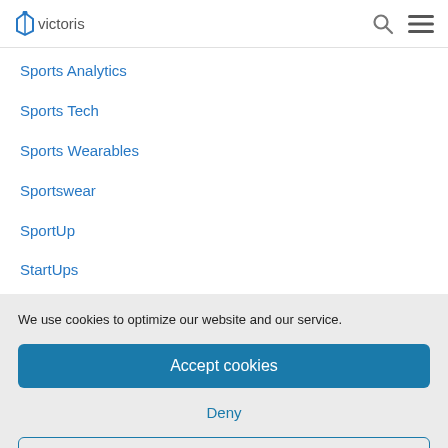victoris
Sports Analytics
Sports Tech
Sports Wearables
Sportswear
SportUp
StartUps
We use cookies to optimize our website and our service.
Accept cookies
Deny
View preferences